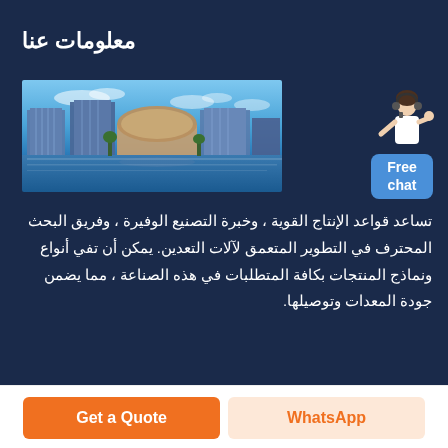معلومات عنا
[Figure (photo): Panoramic view of modern glass office buildings and a dome-shaped structure reflected in water under a blue sky]
[Figure (illustration): Customer service chat widget showing a woman figure with headset and a blue box labeled 'Free chat']
تساعد قواعد الإنتاج القوية ، وخبرة التصنيع الوفيرة ، وفريق البحث المحترف في التطوير المتعمق لآلات التعدين. يمكن أن تفي أنواع ونماذج المنتجات بكافة المتطلبات في هذه الصناعة ، مما يضمن جودة المعدات وتوصيلها.
Get a Quote
WhatsApp